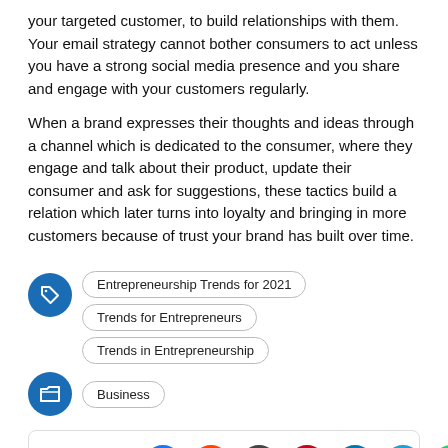your targeted customer, to build relationships with them. Your email strategy cannot bother consumers to act unless you have a strong social media presence and you share and engage with your customers regularly.
When a brand expresses their thoughts and ideas through a channel which is dedicated to the consumer, where they engage and talk about their product, update their consumer and ask for suggestions, these tactics build a relation which later turns into loyalty and bringing in more customers because of trust your brand has built over time.
Entrepreneurship Trends for 2021
Trends for Entrepreneurs
Trends in Entrepreneurship
Business
[Figure (infographic): Share bar with social media icons: Share button, Facebook, Reddit, Email, Pinterest, LinkedIn, Telegram, WhatsApp]